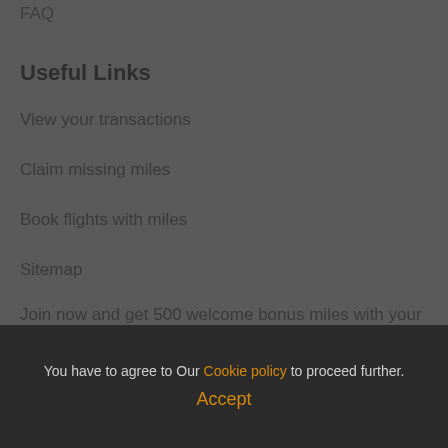FAQ
Useful Links
View your transactions
Claim missing miles
Book flights with miles
Sitemap
Join now and get 500 welcome bonus miles with your
You have to agree to Our Cookie policy to proceed further.
Accept